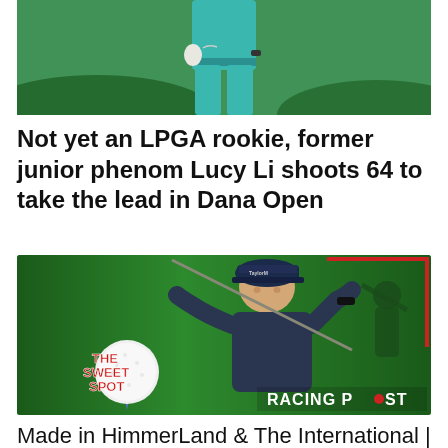[Figure (photo): Cropped photo of a golfer in teal/turquoise outfit and glove, showing torso and legs only, on a green background]
Not yet an LPGA rookie, former junior phenom Lucy Li shoots 64 to take the lead in Dana Open
[Figure (photo): Promotional image for 'The Sweet Spot' podcast by Racing Post, showing a male golfer in a dark cap wearing a TaylorMade hat mid-swing, with a large golf ball graphic and 'THE SWEET SPOT' text on the left, and 'RACING POST' branding at bottom right, on a green background]
Made in HimmerLand & The International | Steve